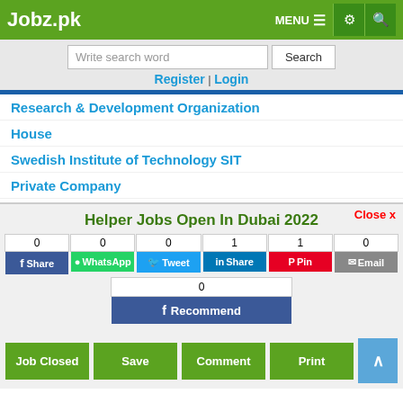Jobz.pk
Write search word | Search
Register | Login
Research & Development Organization
House
Swedish Institute of Technology SIT
Private Company
Cooperative Housing Society
Punjab Government Employees Co operative Housing Society
Students Inn College of Science and Commerce
Falisha Enterprises
Helper Jobs Open In Dubai 2022
Share buttons: Facebook Share 0, WhatsApp 0, Tweet 0, LinkedIn Share 1, Pinterest Pin 1, Email 0, Recommend 0
Job Closed | Save | Comment | Print